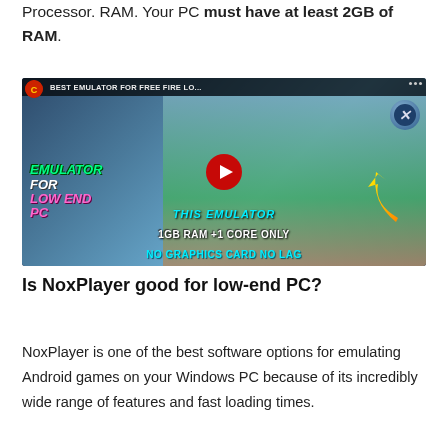Processor. RAM. Your PC must have at least 2GB of RAM.
[Figure (screenshot): YouTube video thumbnail for 'BEST EMULATOR FOR FREE FIRE LO...' showing gameplay, text overlays: EMULATOR FOR LOW END PC, THIS EMULATOR, 1GB RAM +1 CORE ONLY, NO GRAPHICS CARD NO LAG, with a red YouTube play button in center]
Is NoxPlayer good for low-end PC?
NoxPlayer is one of the best software options for emulating Android games on your Windows PC because of its incredibly wide range of features and fast loading times.